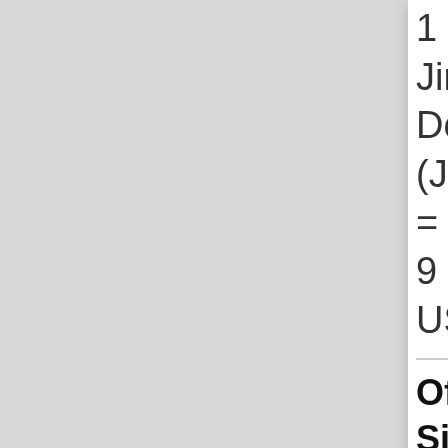1
Jire
Do
(JD
=
9
US
Off
Sig
of
ICP
(Int
Clin
Pro
Tre
Off
Mer
of
ICD
(Int
Cor
of
Der
Nat
[Figure (screenshot): Bottom of page shows a yellow banner/button with arrow icons and the text QUOTE]